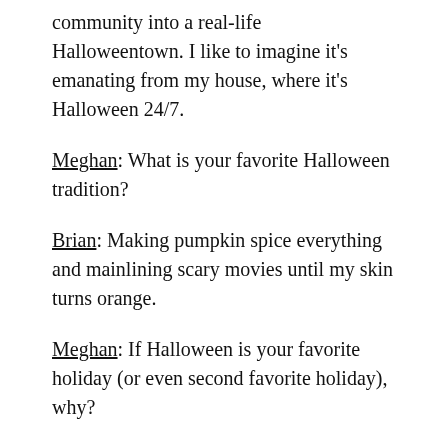community into a real-life Halloweentown. I like to imagine it's emanating from my house, where it's Halloween 24/7.
Meghan: What is your favorite Halloween tradition?
Brian: Making pumpkin spice everything and mainlining scary movies until my skin turns orange.
Meghan: If Halloween is your favorite holiday (or even second favorite holiday), why?
Brian: There are other holidays?
Meghan: What are you superstitious about?
Brian: Not sure if it's superstitious per se, but super OCD about…